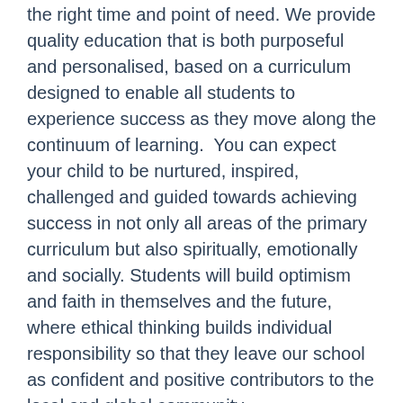the right time and point of need. We provide quality education that is both purposeful and personalised, based on a curriculum designed to enable all students to experience success as they move along the continuum of learning.  You can expect your child to be nurtured, inspired, challenged and guided towards achieving success in not only all areas of the primary curriculum but also spiritually, emotionally and socially. Students will build optimism and faith in themselves and the future, where ethical thinking builds individual responsibility so that they leave our school as confident and positive contributors to the local and global community.
St Mary's encourages all families to become active members of our school community and be involved in the education of our children. Our P&F provides a valuable structure for harnessing the skills of parents and enabling them to work with staff towards shared educational goals.
St Mary's has the continued...